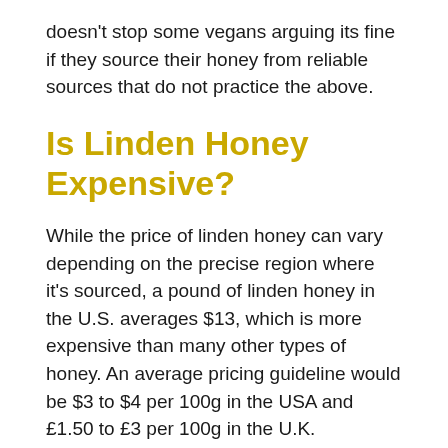doesn't stop some vegans arguing its fine if they source their honey from reliable sources that do not practice the above.
Is Linden Honey Expensive?
While the price of linden honey can vary depending on the precise region where it's sourced, a pound of linden honey in the U.S. averages $13, which is more expensive than many other types of honey. An average pricing guideline would be $3 to $4 per 100g in the USA and £1.50 to £3 per 100g in the U.K.
The high price is often due to the short window of time the nectar is available, the fact that seed production doesn't occur every year, and the various other weather conditions that make linden honey production a challenge for any beekeeper.